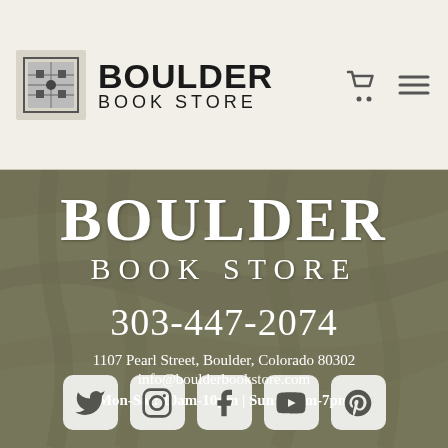[Figure (logo): Boulder Book Store logo: book/circuit board icon on left, BOULDER in bold black large text, BOOK STORE in smaller spaced letters below]
BOULDER
BOOK STORE
303-447-2074
1107 Pearl Street, Boulder, Colorado 80302
info@boulderbookstore.com
Mon-Sat: 10am-10pm | Sun: 11am-7pm
[Figure (infographic): Five social media icons in rounded square buttons: Twitter, Instagram, Facebook, YouTube, Pinterest]